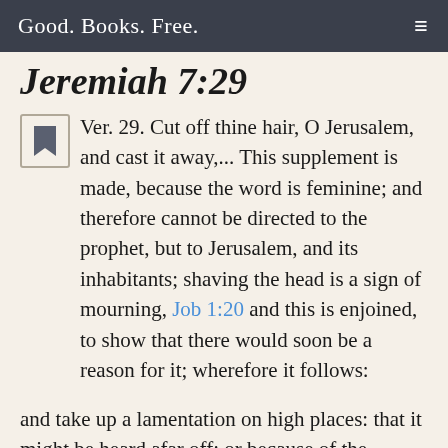Good. Books. Free.
Jeremiah 7:29
Ver. 29. Cut off thine hair, O Jerusalem, and cast it away,... This supplement is made, because the word is feminine; and therefore cannot be directed to the prophet, but to Jerusalem, and its inhabitants; shaving the head is a sign of mourning, Job 1:20 and this is enjoined, to show that there would soon be a reason for it; wherefore it follows:
and take up a lamentation on high places: that it might be heard afar off; or because of the idolatry frequently committed in high places. The Targum is,
“pluck off the hair for thy great ones that are carried captive, and take up a lamentation for the